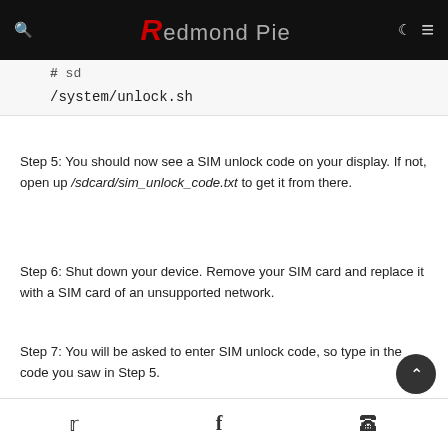Redmond Pie
# sd
/system/unlock.sh
Step 5: You should now see a SIM unlock code on your display. If not, open up /sdcard/sim_unlock_code.txt to get it from there.
Step 6: Shut down your device. Remove your SIM card and replace it with a SIM card of an unsupported network.
Step 7: You will be asked to enter SIM unlock code, so type in the code you saw in Step 5.
Twitter | Facebook | WhatsApp